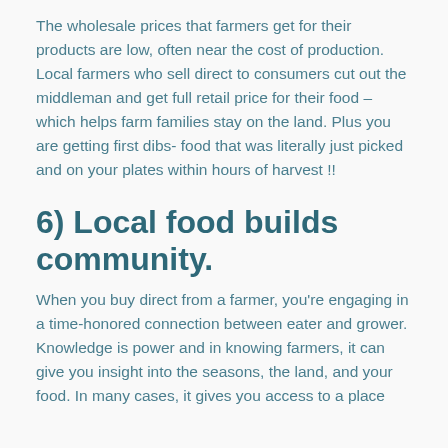The wholesale prices that farmers get for their products are low, often near the cost of production. Local farmers who sell direct to consumers cut out the middleman and get full retail price for their food – which helps farm families stay on the land. Plus you are getting first dibs- food that was literally just picked and on your plates within hours of harvest !!
6) Local food builds community.
When you buy direct from a farmer, you're engaging in a time-honored connection between eater and grower. Knowledge is power and in knowing farmers, it can give you insight into the seasons, the land, and your food. In many cases, it gives you access to a place